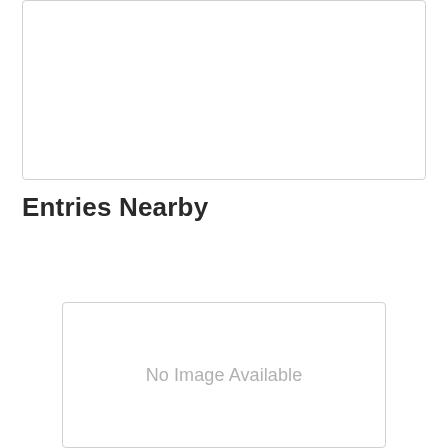[Figure (other): Empty white box with border at top of page]
Entries Nearby
[Figure (other): Box with 'No Image Available' placeholder text]